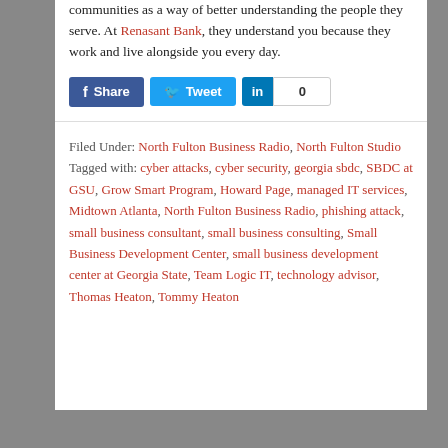communities as a way of better understanding the people they serve. At Renasant Bank, they understand you because they work and live alongside you every day.
[Figure (other): Social sharing buttons: Facebook Share, Twitter Tweet, LinkedIn with count 0]
Filed Under: North Fulton Business Radio, North Fulton Studio Tagged with: cyber attacks, cyber security, georgia sbdc, SBDC at GSU, Grow Smart Program, Howard Page, managed IT services, Midtown Atlanta, North Fulton Business Radio, phishing attack, small business consultant, small business consulting, Small Business Development Center, small business development center at Georgia State, Team Logic IT, technology advisor, Thomas Heaton, Tommy Heaton